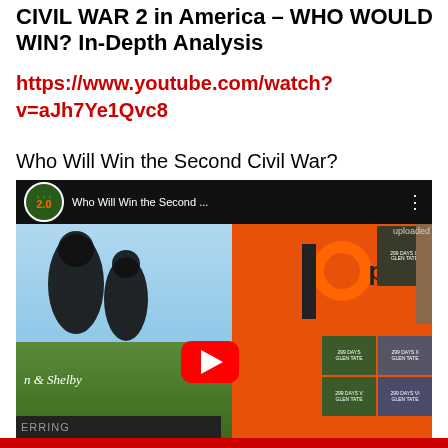CIVIL WAR 2 in America – WHO WOULD WIN? In-Depth Analysis
https://www.youtube.com/watch?v=aJh7Ye1Qvc8
Who Will Win the Second Civil War?
[Figure (screenshot): YouTube video thumbnail for 'Who Will Win the Second Civil War?' showing a Patreon background with silhouette figures, a play button, and channel branding for Prepping 2.0 with Glen Tate and Shelby]